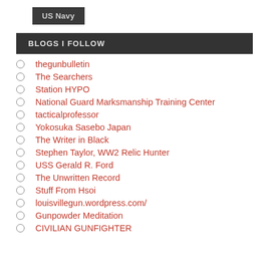US Navy
BLOGS I FOLLOW
thegunbulletin
The Searchers
Station HYPO
National Guard Marksmanship Training Center
tacticalprofessor
Yokosuka Sasebo Japan
The Writer in Black
Stephen Taylor, WW2 Relic Hunter
USS Gerald R. Ford
The Unwritten Record
Stuff From Hsoi
louisvillegun.wordpress.com/
Gunpowder Meditation
CIVILIAN GUNFIGHTER